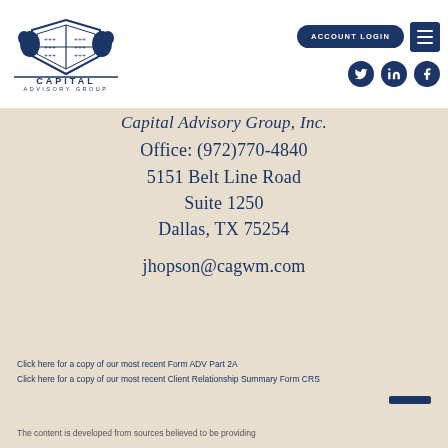[Figure (logo): Capital Advisory Group logo with heraldic shield and lions emblem above text reading CAPITAL ADVISORY GROUP]
ACCOUNT LOGIN
Capital Advisory Group, Inc.
Office: (972)770-4840
5151 Belt Line Road
Suite 1250
Dallas, TX 75254
jhopson@cagwm.com
Click here for a copy of our most recent Form ADV Part 2A
Click here for a copy of our most recent Client Relationship Summary Form CRS
The content is developed from sources believed to be providing